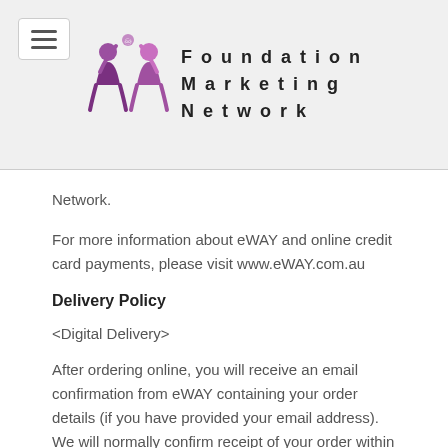Foundation Marketing Network
Network.
For more information about eWAY and online credit card payments, please visit www.eWAY.com.au
Delivery Policy
<Digital Delivery>
After ordering online, you will receive an email confirmation from eWAY containing your order details (if you have provided your email address). We will normally confirm receipt of your order within a few minutes of ordering. We will attempt to send your access links/code via email provided at time of order within 2 working days.